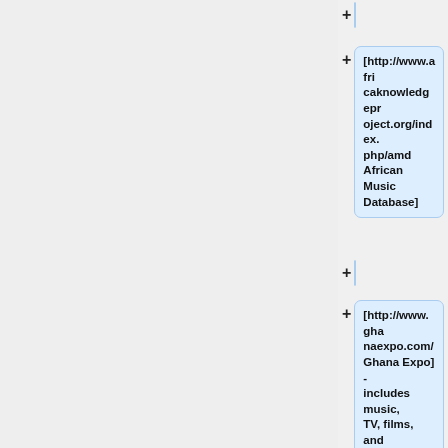[http://www.africaknowledgeproject.org/index.php/amd African Music Database]
[http://www.ghanaexpo.com/ Ghana Expo] - includes music, TV, films, and more...
[http://www.ghanamusic.com/ Ghana Music]